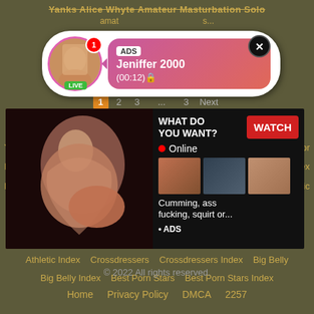Yanks Alice Whyte Amateur Masturbation Solo
amat... s...
[Figure (advertisement): Pop-up ad showing a live stream notification with avatar, LIVE badge, ADS label, name Jeniffer 2000, time (00:12), pink gradient bubble, close button]
[Figure (advertisement): Video ad panel: left side shows video thumbnail of woman, right side black panel with WHAT DO YOU WANT? text, WATCH button in red, Online indicator, three mini thumbnails, text Cumming, ass fucking, squirt or... and ADS bullet]
Yes Dad  ructor
Instr  dex
For  ic
Athletic Index   Crossdressers   Crossdressers Index   Big Belly
Big Belly Index   Best Porn Stars   Best Porn Stars Index
© 2022 All rights reserved.
Home   Privacy Policy   DMCA   2257